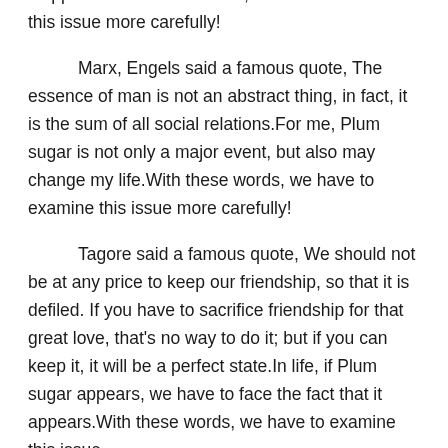Plum sugar appears, we have to face the fact that it appears.With these words, we have to examine this issue more carefully!
Marx, Engels said a famous quote, The essence of man is not an abstract thing, in fact, it is the sum of all social relations.For me, Plum sugar is not only a major event, but also may change my life.With these words, we have to examine this issue more carefully!
Tagore said a famous quote, We should not be at any price to keep our friendship, so that it is defiled. If you have to sacrifice friendship for that great love, that's no way to do it; but if you can keep it, it will be a perfect state.In life, if Plum sugar appears, we have to face the fact that it appears.With these words, we have to examine this issue